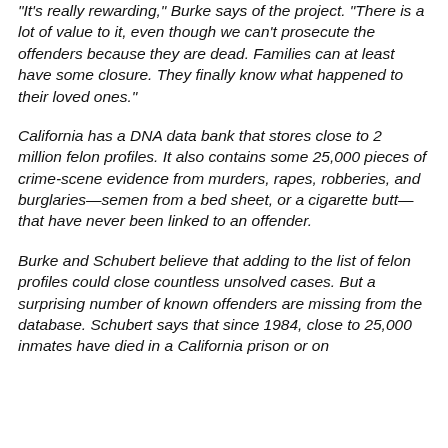"It's really rewarding," Burke says of the project. "There is a lot of value to it, even though we can't prosecute the offenders because they are dead. Families can at least have some closure. They finally know what happened to their loved ones."
California has a DNA data bank that stores close to 2 million felon profiles. It also contains some 25,000 pieces of crime-scene evidence from murders, rapes, robberies, and burglaries—semen from a bed sheet, or a cigarette butt—that have never been linked to an offender.
Burke and Schubert believe that adding to the list of felon profiles could close countless unsolved cases. But a surprising number of known offenders are missing from the database. Schubert says that since 1984, close to 25,000 inmates have died in a California prison or on